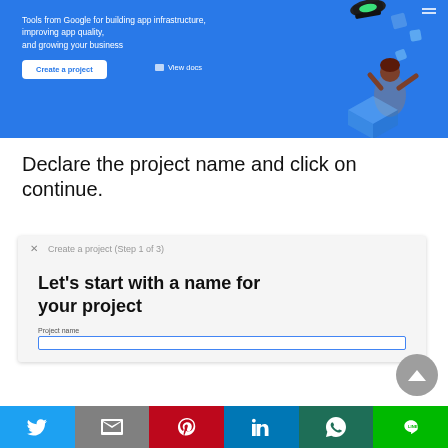[Figure (screenshot): Google Firebase/Cloud hero banner with blue background, showing 'Tools from Google for building app infrastructure, improving app quality, and growing your business', a 'Create a project' button, a 'View docs' link, and a 3D isometric illustration with a person on the right.]
Declare the project name and click on continue.
[Figure (screenshot): Google Cloud 'Create a project (Step 1 of 3)' dialog box on a light gray background, showing heading 'Let’s start with a name for your project' and a 'Project name' input field with blue border.]
[Figure (screenshot): Social sharing bar at the bottom with icons for Twitter, Gmail, Pinterest, LinkedIn, WhatsApp, and Line.]